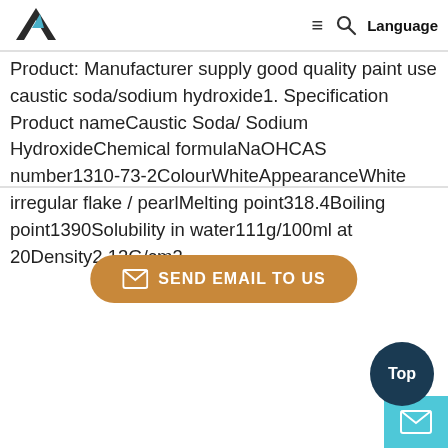Logo | Menu | Search | Language
Product: Manufacturer supply good quality paint use caustic soda/sodium hydroxide1. Specification Product nameCaustic Soda/ Sodium HydroxideChemical formulaNaOHCAS number1310-73-2ColourWhiteAppearanceWhite irregular flake / pearlMelting point318.4Boiling point1390Solubility in water111g/100ml at 20Density2.13G/cm3
[Figure (other): Send Email To Us button with envelope icon, orange/brown rounded button]
[Figure (other): Top circle button (dark navy) and mail icon box (cyan) in bottom right corner]